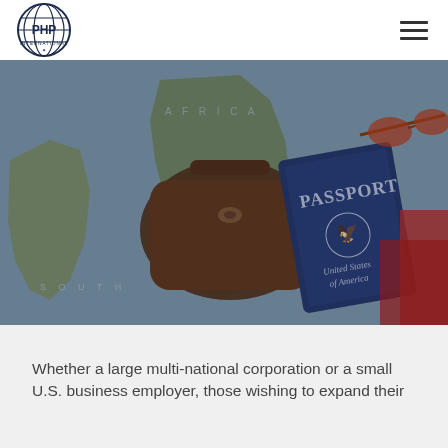[Figure (logo): PHP International circular logo with globe and text]
[Figure (photo): Hero banner photo showing a US passport on a world map with sunglasses and a leather bag]
Whether a large multi-national corporation or a small U.S. business employer, those wishing to expand their